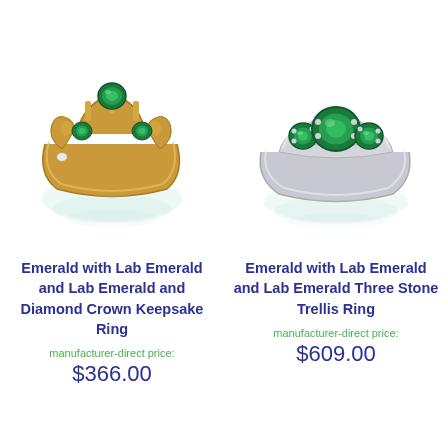[Figure (photo): Two jewelry rings side by side: left is a gold filigree crown keepsake ring with emerald and lab emerald stones, right is a white gold three stone trellis ring with large center emerald and two smaller lab emeralds]
Emerald with Lab Emerald and Lab Emerald and Diamond Crown Keepsake Ring
manufacturer-direct price:
$366.00
Emerald with Lab Emerald and Lab Emerald Three Stone Trellis Ring
manufacturer-direct price:
$609.00